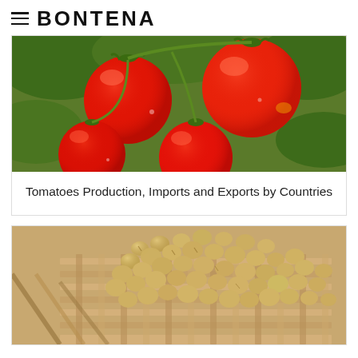≡ BONTENA
[Figure (photo): Close-up photo of red ripe tomatoes on a vine with green leaves in the background]
Tomatoes Production, Imports and Exports by Countries
[Figure (photo): Close-up photo of soybeans/chickpeas piled on a woven bamboo basket tray]